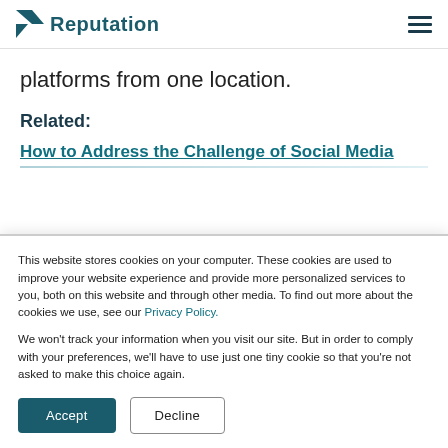Reputation
platforms from one location.
Related:
How to Address the Challenge of Social Media
This website stores cookies on your computer. These cookies are used to improve your website experience and provide more personalized services to you, both on this website and through other media. To find out more about the cookies we use, see our Privacy Policy.
We won't track your information when you visit our site. But in order to comply with your preferences, we'll have to use just one tiny cookie so that you're not asked to make this choice again.